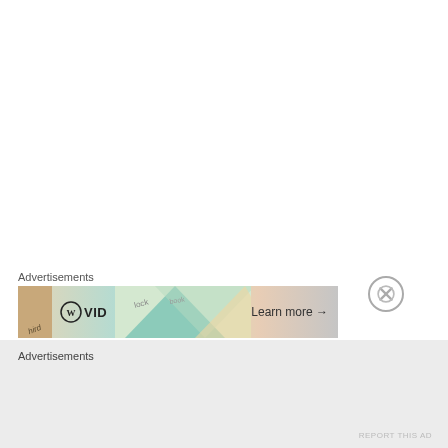Advertisements
[Figure (screenshot): Advertisement banner showing WordPress logo, VID text, colorful geometric background with teal diamonds, book/stock text overlay, and 'Learn more →' button]
Advertisements
REPORT THIS AD